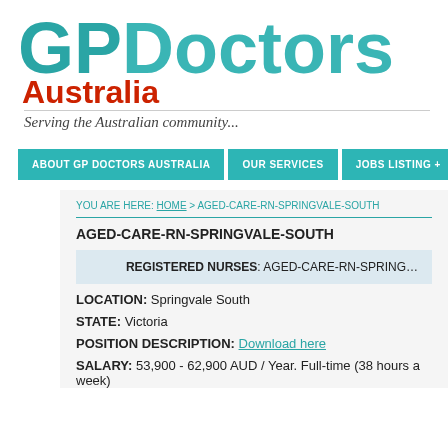[Figure (logo): GP Doctors Australia logo with teal GP Doctors text, red Australia text, and italic tagline 'Serving the Australian community...']
ABOUT GP DOCTORS AUSTRALIA | OUR SERVICES | JOBS LISTING +
YOU ARE HERE: HOME > AGED-CARE-RN-SPRINGVALE-SOUTH
AGED-CARE-RN-SPRINGVALE-SOUTH
REGISTERED NURSES: AGED-CARE-RN-SPRINGVALE-SOUTH
LOCATION: Springvale South
STATE: Victoria
POSITION DESCRIPTION: Download here
SALARY: 53,900 - 62,900 AUD / Year. Full-time (38 hours a week)